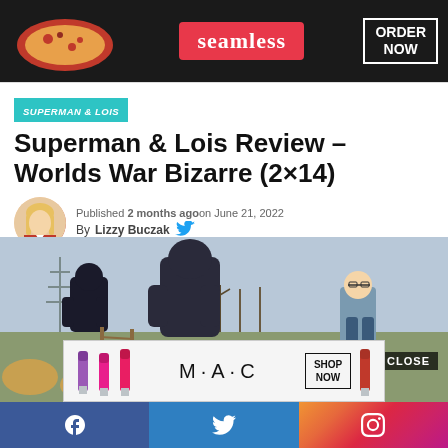[Figure (screenshot): Seamless food delivery advertisement banner with pizza image, seamless logo in red, and ORDER NOW button]
SUPERMAN & LOIS
Superman & Lois Review – Worlds War Bizarre (2×14)
Published 2 months agoon June 21, 2022
By Lizzy Buczak
[Figure (photo): Scene from Superman & Lois showing armored figures in a field with a man in a suit, with a MAC cosmetics advertisement overlay showing lipsticks and SHOP NOW button]
[Figure (infographic): Social media share bar with Facebook, Twitter, and Instagram icons]